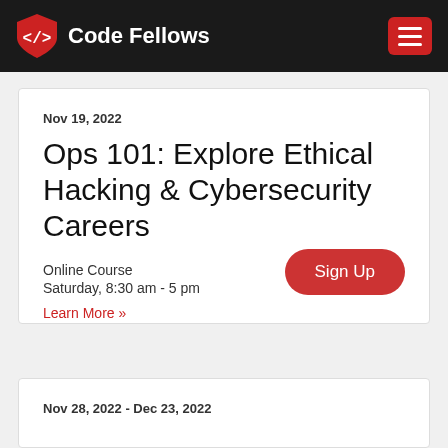Code Fellows
Nov 19, 2022
Ops 101: Explore Ethical Hacking & Cybersecurity Careers
Online Course
Saturday, 8:30 am - 5 pm
Learn More »
Sign Up
Nov 28, 2022 - Dec 23, 2022